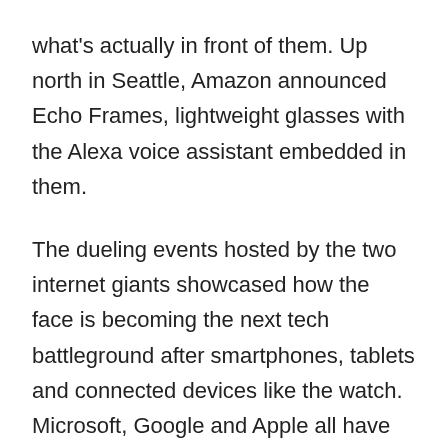what's actually in front of them. Up north in Seattle, Amazon announced Echo Frames, lightweight glasses with the Alexa voice assistant embedded in them.
The dueling events hosted by the two internet giants showcased how the face is becoming the next tech battleground after smartphones, tablets and connected devices like the watch. Microsoft, Google and Apple all have their own approaches to augmented reality and virtual reality, but the race for the face is particularly critical to Facebook and Amazon, because they have yet to establish computing gateways. Microsoft won the PC era and now has a tablet business, while Apple and Google have the dominant mobile operating systems.